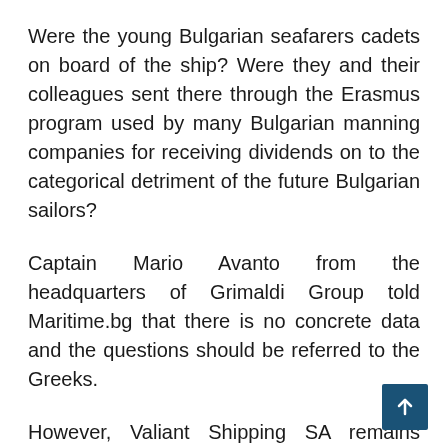Were the young Bulgarian seafarers cadets on board of the ship? Were they and their colleagues sent there through the Erasmus program used by many Bulgarian manning companies for receiving dividends on to the categorical detriment of the future Bulgarian sailors?
Captain Mario Avanto from the headquarters of Grimaldi Group told Maritime.bg that there is no concrete data and the questions should be referred to the Greeks.
However, Valiant Shipping SA remains silent to these and other questions as well.